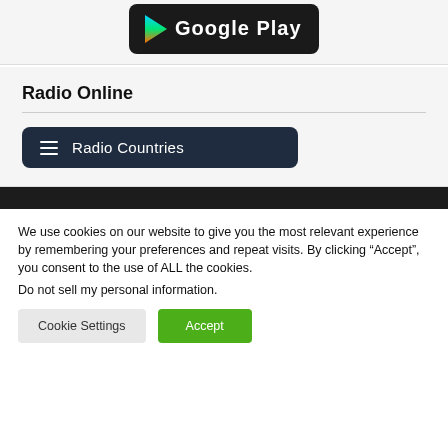[Figure (screenshot): Google Play store badge/button with colorful logo on black background, partially cropped at top]
Radio Online
[Figure (screenshot): Dark navy button with hamburger menu icon and text 'Radio Countries']
We use cookies on our website to give you the most relevant experience by remembering your preferences and repeat visits. By clicking “Accept”, you consent to the use of ALL the cookies.
Do not sell my personal information.
Cookie Settings
Accept